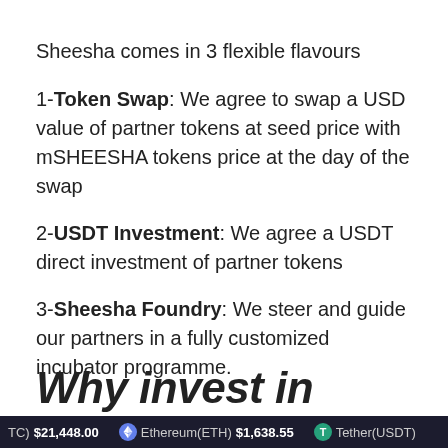Sheesha comes in 3 flexible flavours
1-Token Swap: We agree to swap a USD value of partner tokens at seed price with mSHEESHA tokens price at the day of the swap
2-USDT Investment: We agree a USDT direct investment of partner tokens
3-Sheesha Foundry: We steer and guide our partners in a fully customized incubator programme.
Why invest in
(TC) $21,448.00   Ethereum(ETH) $1,638.55   Tether(USDT)